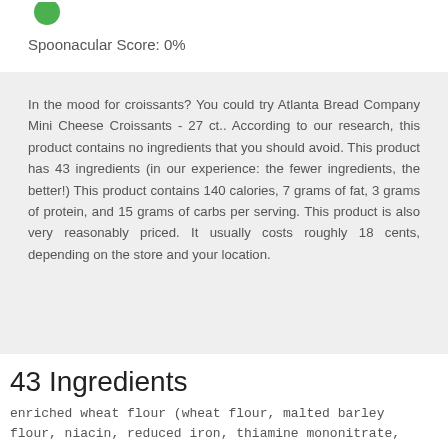[Figure (other): Green circle badge at top of page]
Spoonacular Score: 0%
In the mood for croissants? You could try Atlanta Bread Company Mini Cheese Croissants - 27 ct.. According to our research, this product contains no ingredients that you should avoid. This product has 43 ingredients (in our experience: the fewer ingredients, the better!) This product contains 140 calories, 7 grams of fat, 3 grams of protein, and 15 grams of carbs per serving. This product is also very reasonably priced. It usually costs roughly 18 cents, depending on the store and your location.
43 Ingredients
enriched wheat flour (wheat flour, malted barley flour, niacin, reduced iron, thiamine mononitrate, riboflavin, folic acid), cream cheese filling [ (pasteurized milk and cream, cheese culture, salt, carob bean gum),